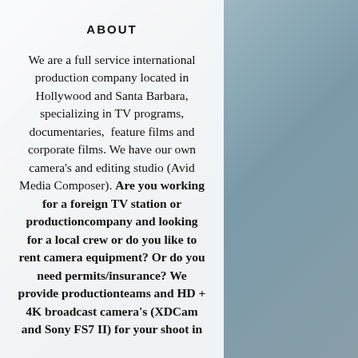ABOUT
We are a full service international production company located in Hollywood and Santa Barbara, specializing in TV programs, documentaries, feature films and corporate films. We have our own camera's and editing studio (Avid Media Composer). Are you working for a foreign TV station or productioncompany and looking for a local crew or do you like to rent camera equipment? Or do you need permits/insurance? We provide productionteams and HD + 4K broadcast camera's (XDCam and Sony FS7 II) for your shoot in